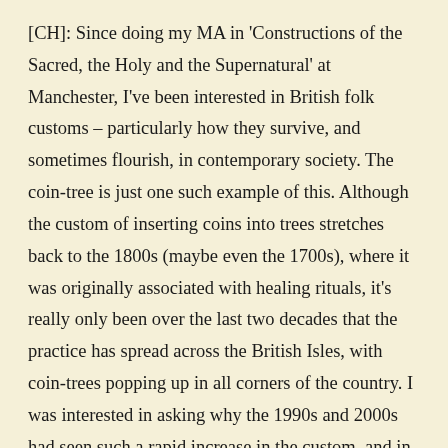[CH]: Since doing my MA in 'Constructions of the Sacred, the Holy and the Supernatural' at Manchester, I've been interested in British folk customs – particularly how they survive, and sometimes flourish, in contemporary society. The coin-tree is just one such example of this. Although the custom of inserting coins into trees stretches back to the 1800s (maybe even the 1700s), where it was originally associated with healing rituals, it's really only been over the last two decades that the practice has spread across the British Isles, with coin-trees popping up in all corners of the country. I was interested in asking why the 1990s and 2000s had seen such a rapid increase in the custom, and in finding out what it means to its modern-day participants. My conclusion: it means whatever its participants want it to mean, and I use coin-trees to demonstrate the malleability of folklore and the mutability